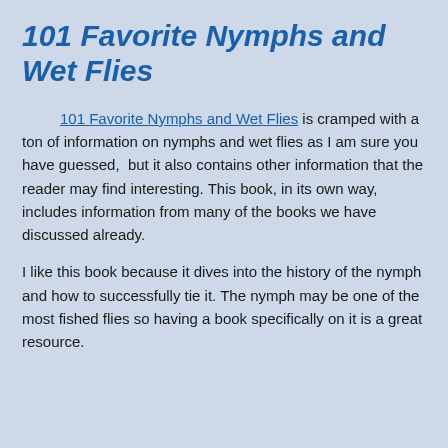101 Favorite Nymphs and Wet Flies
101 Favorite Nymphs and Wet Flies is cramped with a ton of information on nymphs and wet flies as I am sure you have guessed,  but it also contains other information that the reader may find interesting. This book, in its own way, includes information from many of the books we have discussed already.
I like this book because it dives into the history of the nymph and how to successfully tie it. The nymph may be one of the most fished flies so having a book specifically on it is a great resource.